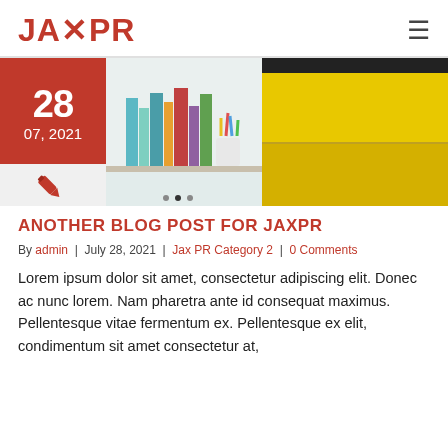[Figure (logo): JAXPR logo with red X and hamburger menu icon]
[Figure (photo): Blog post thumbnail: date box showing 28 / 07, 2021 in red, pen icon below, books on shelf photo, yellow cabinet photo]
ANOTHER BLOG POST FOR JAXPR
By admin | July 28, 2021 | Jax PR Category 2 | 0 Comments
Lorem ipsum dolor sit amet, consectetur adipiscing elit. Donec ac nunc lorem. Nam pharetra ante id consequat maximus. Pellentesque vitae fermentum ex. Pellentesque ex elit, condimentum sit amet consectetur at,